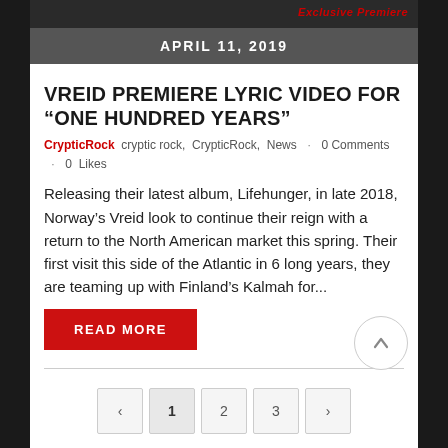[Figure (photo): Top portion of a band/music photo with 'Exclusive Premiere' text in red italic overlay]
APRIL 11, 2019
VREID PREMIERE LYRIC VIDEO FOR “ONE HUNDRED YEARS”
CrypticRock  cryptic rock,  CrypticRock,  News  ·  0 Comments  ·  0  Likes
Releasing their latest album, Lifehunger, in late 2018, Norway’s Vreid look to continue their reign with a return to the North American market this spring. Their first visit this side of the Atlantic in 6 long years, they are teaming up with Finland’s Kalmah for...
READ MORE
Pagination: < 1 2 3 >